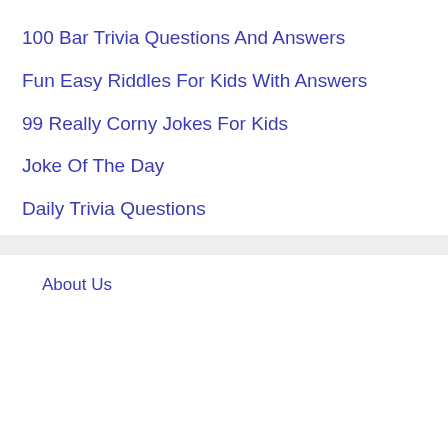100 Bar Trivia Questions And Answers
Fun Easy Riddles For Kids With Answers
99 Really Corny Jokes For Kids
Joke Of The Day
Daily Trivia Questions
About Us